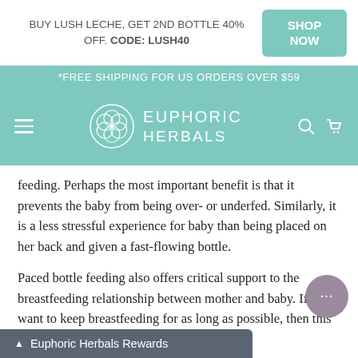BUY LUSH LECHE, GET 2ND BOTTLE 40% OFF. CODE: LUSH40  SHOP NOW
*FREE SHIPPING FOR US ORDERS OVER $59
[Figure (logo): Euphoric Herbals logo with geometric flower circle and brand name in white on teal background, with hamburger menu, search and cart icons]
feeding. Perhaps the most important benefit is that it prevents the baby from being over- or underfed. Similarly, it is a less stressful experience for baby than being placed on her back and given a fast-flowing bottle.
Paced bottle feeding also offers critical support to the breastfeeding relationship between mother and baby. If you want to keep breastfeeding for as long as possible, then this is a good way to sustain practice.
Euphoric Herbals Rewards